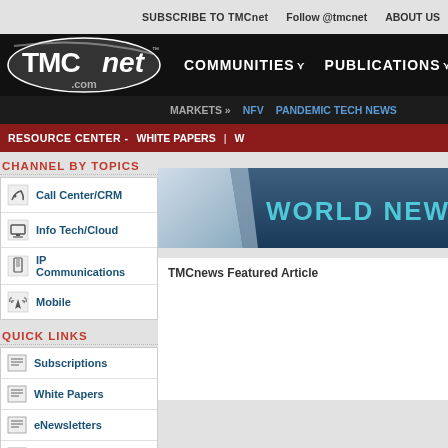SUBSCRIBE TO TMCnet  Follow @tmcnet  ABOUT US
[Figure (logo): TMCnet.com logo in black nav bar]
COMMUNITIES  PUBLICATIONS
MARKETS »  NFV  PANDEMIC TECH NEWS
RESOURCE CENTER -  WHITE PAPERS  |  W
CHANNEL BY TOPICS
Call Center/CRM
Info Tech/Cloud
IP Communications
Mobile
QUICK LINKS
Subscriptions
White Papers
eNewsletters
Webinars
[Figure (illustration): WORLD NEWS banner with folded paper effect on blue-gray background]
TMCnews Featured Article